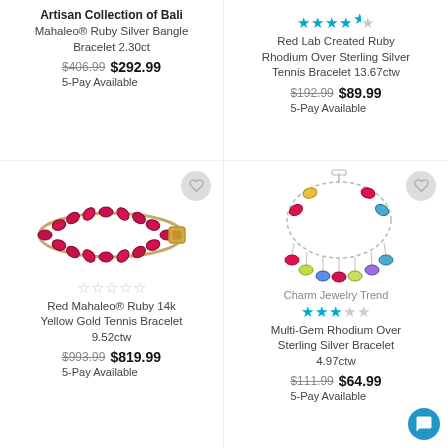Artisan Collection of Bali
Mahaleo® Ruby Silver Bangle Bracelet 2.30ct
$406.99  $292.99
5-Pay Available
[Figure (photo): Red ruby tennis bracelet]
★★★★★ (empty stars)
Red Mahaleo® Ruby 14k Yellow Gold Tennis Bracelet 9.52ctw
$993.99  $819.99
5-Pay Available
★★★★½ (4.5 teal stars)
Red Lab Created Ruby Rhodium Over Sterling Silver Tennis Bracelet 13.67ctw
$192.99  $89.99
5-Pay Available
[Figure (photo): Multi-gem charm bracelet with colorful oval stones]
Charm Jewelry Trend
★★★☆☆ (3 teal stars)
Multi-Gem Rhodium Over Sterling Silver Bracelet 4.97ctw
$111.99  $64.99
5-Pay Available